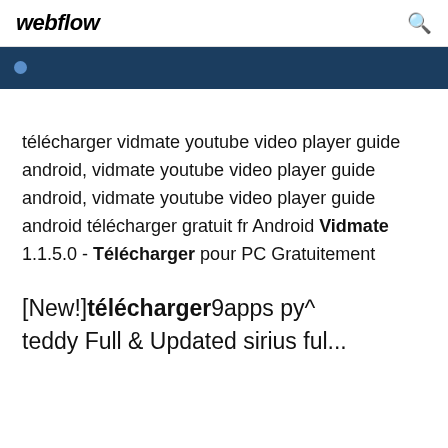webflow
[Figure (other): Dark blue banner bar with small circular icon on left]
télécharger vidmate youtube video player guide android, vidmate youtube video player guide android, vidmate youtube video player guide android télécharger gratuit fr Android Vidmate 1.1.5.0 - Télécharger pour PC Gratuitement
[New!]télécharger9apps py^ teddy Full & Updated sirius ful...